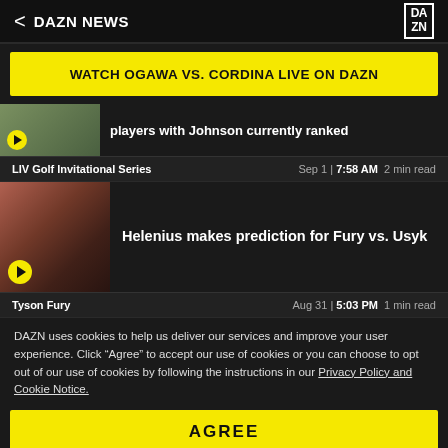DAZN NEWS
WATCH OGAWA VS. CORDINA LIVE ON DAZN
players with Johnson currently ranked
LIV Golf Invitational Series  Sep 1 |  7:58 AM  2 min read
Helenius makes prediction for Fury vs. Usyk
Tyson Fury  Aug 31 |  5:03 PM  1 min read
DAZN uses cookies to help us deliver our services and improve your user experience. Click “Agree” to accept our use of cookies or you can choose to opt out of our use of cookies by following the instructions in our Privacy Policy and Cookie Notice.
AGREE